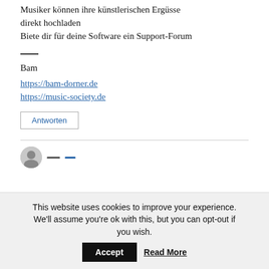Musiker können ihre künstlerischen Ergüsse direkt hochladen
Biete dir für deine Software ein Support-Forum
—
Bam
https://bam-dorner.de
https://music-society.de
Antworten
This website uses cookies to improve your experience. We'll assume you're ok with this, but you can opt-out if you wish.
Accept
Read More